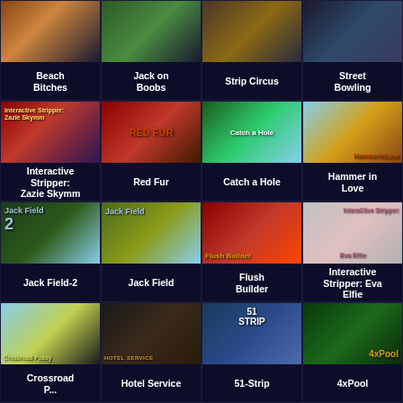[Figure (screenshot): Game thumbnail grid showing 16 adult game titles in 4x4 layout]
Beach Bitches
Jack on Boobs
Strip Circus
Street Bowling
Interactive Stripper: Zazie Skymm
Red Fur
Catch a Hole
Hammer in Love
Jack Field-2
Jack Field
Flush Builder
Interactive Stripper: Eva Elfie
Crossroad Pussy
Hotel Service
51-Strip
4xPool